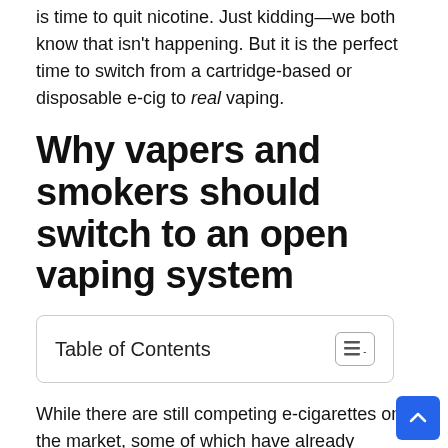is time to quit nicotine. Just kidding—we both know that isn't happening. But it is the perfect time to switch from a cartridge-based or disposable e-cig to real vaping.
Why vapers and smokers should switch to an open vaping system
Table of Contents
While there are still competing e-cigarettes on the market, some of which have already